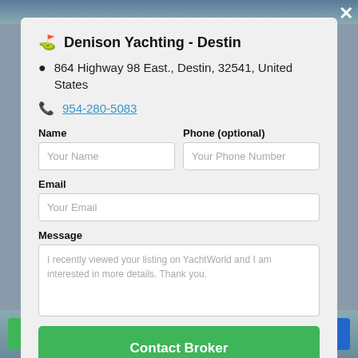Denison Yachting - Destin
864 Highway 98 East., Destin, 32541, United States
954-280-5083
Name
Your Name
Phone (optional)
Your Phone Number
Email
Your Email
Message
I recently viewed your listing on YachtWorld and I am interested in more details. Thank you.
Contact Broker